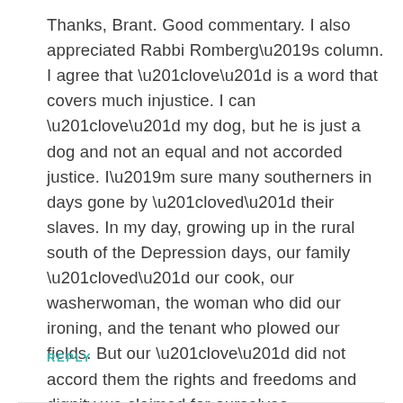Thanks, Brant. Good commentary. I also appreciated Rabbi Romberg’s column. I agree that “love” is a word that covers much injustice. I can “love” my dog, but he is just a dog and not an equal and not accorded justice. I’m sure many southerners in days gone by “loved” their slaves. In my day, growing up in the rural south of the Depression days, our family “loved” our cook, our washerwoman, the woman who did our ironing, and the tenant who plowed our fields. But our “love” did not accord them the rights and freedoms and dignity we claimed for ourselves.
REPLY